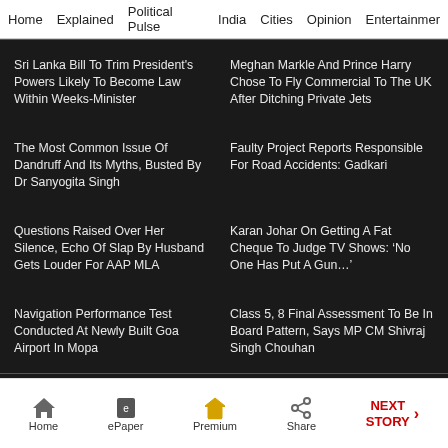Home  Explained  Political Pulse  India  Cities  Opinion  Entertainment
Sri Lanka Bill To Trim President's Powers Likely To Become Law Within Weeks-Minister
Meghan Markle And Prince Harry Chose To Fly Commercial To The UK After Ditching Private Jets
The Most Common Issue Of Dandruff And Its Myths, Busted By Dr Sanyogita Singh
Faulty Project Reports Responsible For Road Accidents: Gadkari
Questions Raised Over Her Silence, Echo Of Slap By Husband Gets Louder For AAP MLA
Karan Johar On Getting A Fat Cheque To Judge TV Shows: ‘No One Has Put A Gun…’
Navigation Performance Test Conducted At Newly Built Goa Airport In Mopa
Class 5, 8 Final Assessment To Be In Board Pattern, Says MP CM Shivraj Singh Chouhan
Home  ePaper  Premium  Share  NEXT STORY